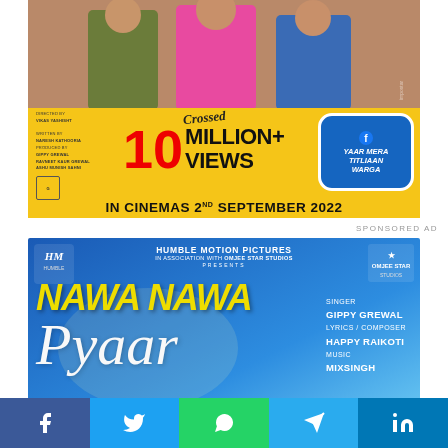[Figure (photo): Movie advertisement for 'Yaar Mera Titliaan Warga'. Top half shows people in colorful clothes. Bottom yellow section shows '10 MILLION+ VIEWS Crossed', directed by Vikas Yashisht, written by Naresh Kathooria, produced by Gippy Grewal, Ravneet Kaur Grewal, Ashu Munish Sahni. 'IN CINEMAS 2ND SEPTEMBER 2022']
SPONSORED AD
[Figure (photo): Movie/Song advertisement for 'Nawa Nawa Pyaar'. Humble Motion Pictures in association with Omjee Star Studios presents. Singer: Gippy Grewal, Lyrics/Composer: Happy Raikoti, Music: MixSingh. Blue gradient background with yellow bold title text.]
Facebook | Twitter | WhatsApp | Telegram | LinkedIn social share buttons